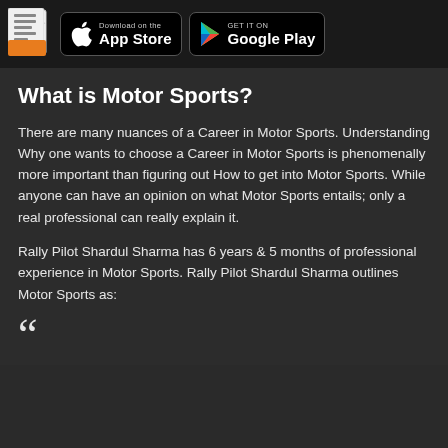Download on the App Store | GET IT ON Google Play
What is Motor Sports?
There are many nuances of a Career in Motor Sports. Understanding Why one wants to choose a Career in Motor Sports is phenomenally more important than figuring out How to get into Motor Sports. While anyone can have an opinion on what Motor Sports entails; only a real professional can really explain it.
Rally Pilot Shardul Sharma has 6 years & 5 months of professional experience in Motor Sports. Rally Pilot Shardul Sharma outlines Motor Sports as: